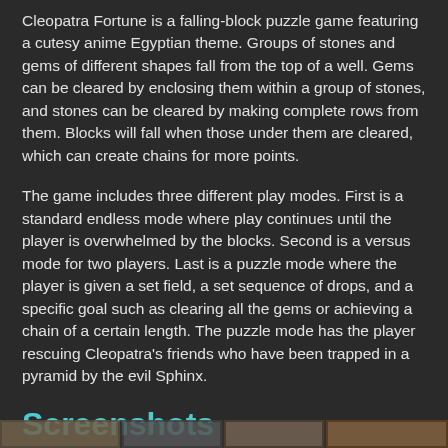Cleopatra Fortune is a falling-block puzzle game featuring a cutesy anime Egyptian theme. Groups of stones and gems of different shapes fall from the top of a well. Gems can be cleared by enclosing them within a group of stones, and stones can be cleared by making complete rows from them. Blocks will fall when those under them are cleared, which can create chains for more points.
The game includes three different play modes. First is a standard endless mode where play continues until the player is overwhelmed by the blocks. Second is a versus mode for two players. Last is a puzzle mode where the player is given a set field, a set sequence of drops, and a specific goal such as clearing all the gems or achieving a chain of a certain length. The puzzle mode has the player rescuing Cleopatra's friends who have been trapped in a pyramid by the evil Sphinx.
Screenshots
[Figure (screenshot): A strip of game screenshots shown at the bottom of the page.]